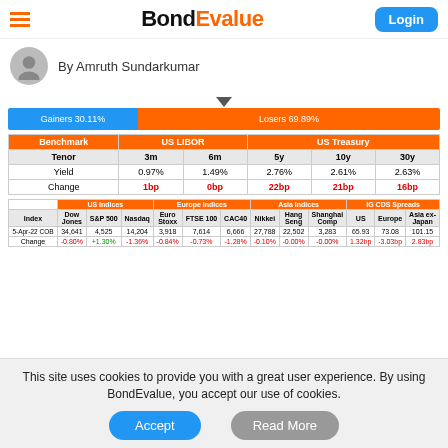BondEvalue — Login button
By Amruth Sundarkumar
[Figure (infographic): Gainers 30.11% vs Losers 69.89% bar with downward triangle indicator]
| Benchmark | US LIBOR (3m, 6m) | US Treasury (5y, 10y, 30y) |
| --- | --- | --- |
| Tenor | 3m | 6m | 5y | 10y | 30y |
| Yield | 0.97% | 1.49% | 2.76% | 2.61% | 2.63% |
| Change | 1bp | 0bp | 22bp | 21bp | 16bp |
| Index | Dow Jones | S&P 500 | Nasdaq | Euro Stoxx | FTSE 100 | CAC40 | Nikkei | Hang Seng | Shanghai Comp | US | Europe | Asia ex-Japan |
| --- | --- | --- | --- | --- | --- | --- | --- | --- | --- | --- | --- | --- |
| 5-Apr-22 COB | 34,641 | 4,525 | 14,204 | 3,918 | 7,614 | 6,666 | 27,788 | 22,502 | 3,283 | 65.93 | 73.08 | 101.15 |
| Change | -0.80% | +1.30% | -1.36% | -0.84% | -0.73% | -1.28% | -0.10% | -0.00% | -0.00% | 1.32bp | -3.03bp | 2.83bp |
This site uses cookies to provide you with a great user experience. By using BondEvalue, you accept our use of cookies.